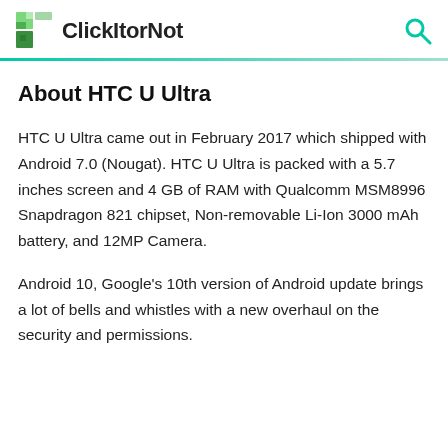ClickItorNot
About HTC U Ultra
HTC U Ultra came out in February 2017 which shipped with Android 7.0 (Nougat). HTC U Ultra is packed with a 5.7 inches screen and 4 GB of RAM with Qualcomm MSM8996 Snapdragon 821 chipset, Non-removable Li-Ion 3000 mAh battery, and 12MP Camera.
Android 10, Google's 10th version of Android update brings a lot of bells and whistles with a new overhaul on the security and permissions.